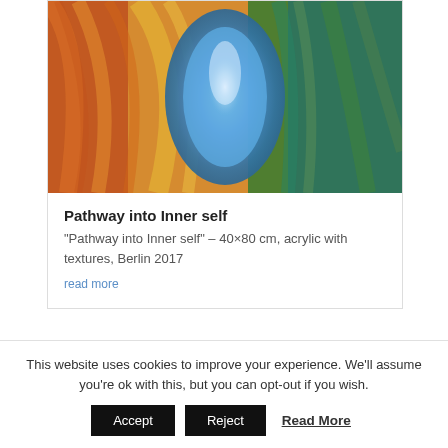[Figure (illustration): Abstract acrylic painting with textures showing a central blue oval shape surrounded by orange, yellow, and green swirling colors reminiscent of a pathway or tunnel into light]
Pathway into Inner self
“Pathway into Inner self” – 40×80 cm, acrylic with textures, Berlin 2017
read more
This website uses cookies to improve your experience. We'll assume you're ok with this, but you can opt-out if you wish.